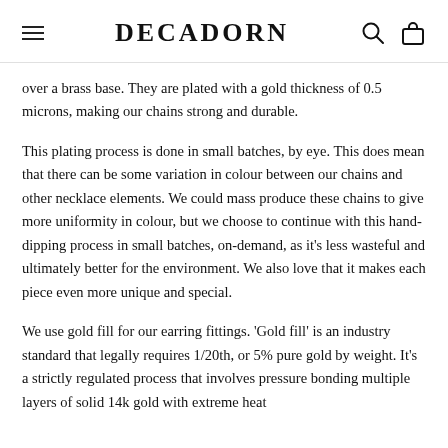DECADORN
over a brass base. They are plated with a gold thickness of 0.5 microns, making our chains strong and durable.
This plating process is done in small batches, by eye. This does mean that there can be some variation in colour between our chains and other necklace elements. We could mass produce these chains to give more uniformity in colour, but we choose to continue with this hand-dipping process in small batches, on-demand, as it’s less wasteful and ultimately better for the environment. We also love that it makes each piece even more unique and special.
We use gold fill for our earring fittings. ‘Gold fill’ is an industry standard that legally requires 1/20th, or 5% pure gold by weight. It’s a strictly regulated process that involves pressure bonding multiple layers of solid 14k gold with extreme heat